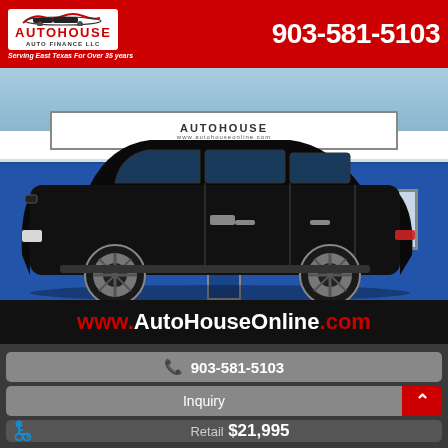[Figure (logo): AutoHouse Auto Finance LLC logo with car silhouette, tagline: Serving East Texas For Over 35 years]
903-581-5103
[Figure (photo): Black SUV (Chevrolet Tahoe) parked in front of AutoHouse Auto Finance LLC dealership building with blue siding and AutoHouse signage. Website www.autohouseonline.com visible on building.]
www.AutoHouseOnline.com
📞 903-581-5103
Inquiry
Retail $21,995